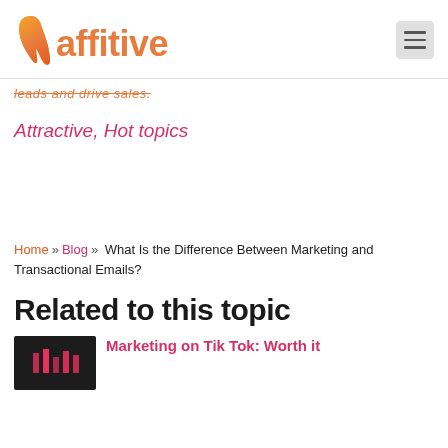Naffitive
leads and drive sales.
Attractive, Hot topics
Home » Blog » What Is the Difference Between Marketing and Transactional Emails?
Related to this topic
Marketing on Tik Tok: Worth it